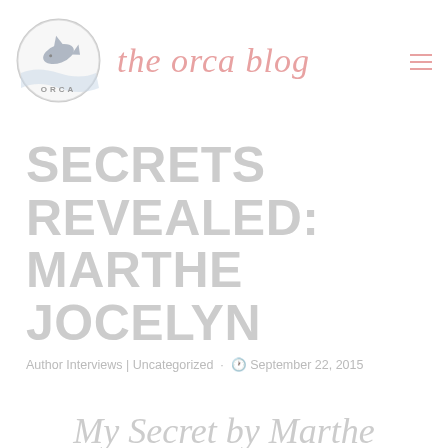the orca blog
SECRETS REVEALED: MARTHE JOCELYN
Author Interviews | Uncategorized · September 22, 2015
My Secret by Marthe Jocelyn
Marthe's novel A Big Dose of Lucky is part of the